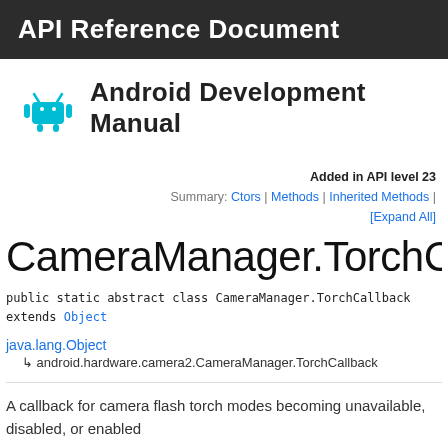API Reference Document
Android Development Manual
Added in API level 23
Summary: Ctors | Methods | Inherited Methods |
[Expand All]
CameraManager.TorchCallb
public static abstract class CameraManager.TorchCallback
extends Object
java.lang.Object
↳ android.hardware.camera2.CameraManager.TorchCallback
A callback for camera flash torch modes becoming unavailable, disabled, or enabled